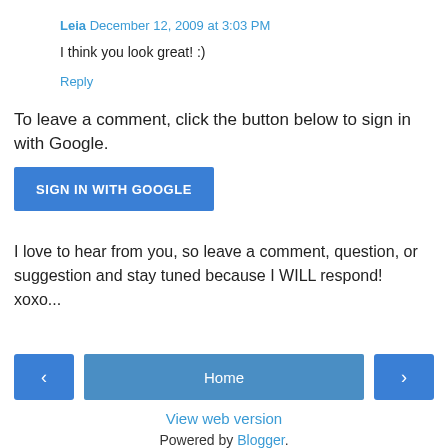Leia December 12, 2009 at 3:03 PM
I think you look great! :)
Reply
To leave a comment, click the button below to sign in with Google.
SIGN IN WITH GOOGLE
I love to hear from you, so leave a comment, question, or suggestion and stay tuned because I WILL respond! xoxo...
< Home >
View web version
Powered by Blogger.